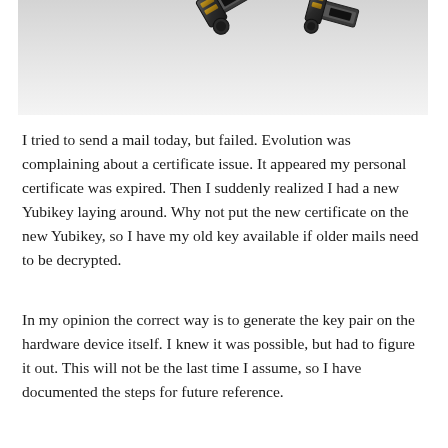[Figure (photo): Photograph of Yubikey hardware security device (black and gold USB dongle) against a light gray/white background, partially visible at top of frame.]
I tried to send a mail today, but failed. Evolution was complaining about a certificate issue. It appeared my personal certificate was expired. Then I suddenly realized I had a new Yubikey laying around. Why not put the new certificate on the new Yubikey, so I have my old key available if older mails need to be decrypted.
In my opinion the correct way is to generate the key pair on the hardware device itself. I knew it was possible, but had to figure it out. This will not be the last time I assume, so I have documented the steps for future reference.